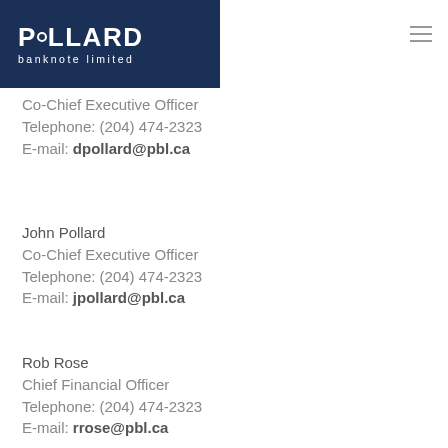POLLARD banknote limited
Co-Chief Executive Officer
Telephone: (204) 474-2323
E-mail: dpollard@pbl.ca
John Pollard
Co-Chief Executive Officer
Telephone: (204) 474-2323
E-mail: jpollard@pbl.ca
Rob Rose
Chief Financial Officer
Telephone: (204) 474-2323
E-mail: rrose@pbl.ca